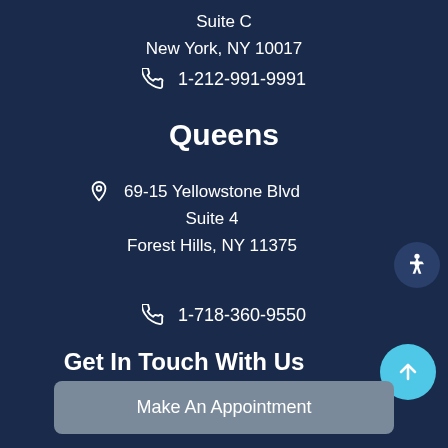Suite C
New York, NY 10017
1-212-991-9991
Queens
69-15 Yellowstone Blvd
Suite 4
Forest Hills, NY 11375
1-718-360-9550
Get In Touch With Us
Make An Appointment